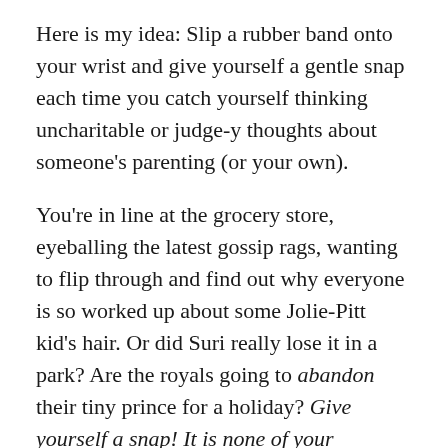Here is my idea: Slip a rubber band onto your wrist and give yourself a gentle snap each time you catch yourself thinking uncharitable or judge-y thoughts about someone's parenting (or your own).
You're in line at the grocery store, eyeballing the latest gossip rags, wanting to flip through and find out why everyone is so worked up about some Jolie-Pitt kid's hair. Or did Suri really lose it in a park? Are the royals going to abandon their tiny prince for a holiday? Give yourself a snap! It is none of your business.
Instead of an inward (or worse, a snarky outward): 'At least I am raising my own kids' comment about the mom with the nanny, or the family with kids in extended daycare, ask yourself: do you really care or are